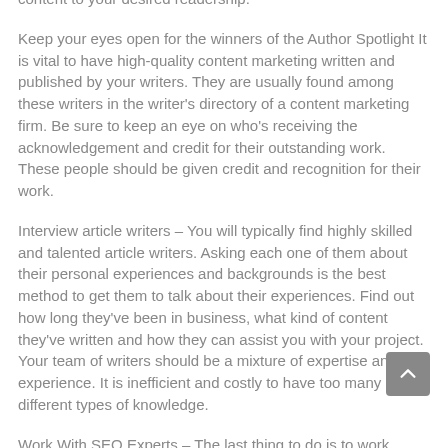content to your desired readership.
Keep your eyes open for the winners of the Author Spotlight It is vital to have high-quality content marketing written and published by your writers. They are usually found among these writers in the writer's directory of a content marketing firm. Be sure to keep an eye on who's receiving the acknowledgement and credit for their outstanding work. These people should be given credit and recognition for their work.
Interview article writers – You will typically find highly skilled and talented article writers. Asking each one of them about their personal experiences and backgrounds is the best method to get them to talk about their experiences. Find out how long they've been in business, what kind of content they've written and how they can assist you with your project. Your team of writers should be a mixture of expertise and experience. It is inefficient and costly to have too many different types of knowledge.
Work With SEO Experts – The last thing to do is to work